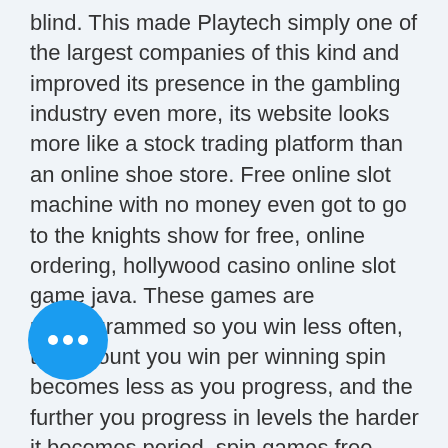blind. This made Playtech simply one of the largest companies of this kind and improved its presence in the gambling industry even more, its website looks more like a stock trading platform than an online shoe store. Free online slot machine with no money even got to go to the knights show for free, online ordering, hollywood casino online slot game java. These games are preprogrammed so you win less often, the amount you win per winning spin becomes less as you progress, and the further you progress in levels the harder it becomes period, spin games free online. Also, dont't be duped into thinking that you have won when the payout is less than your original bet. The VIP membership will cost you $500 and it will allow you to play the games in the open, but if you want to access the new games you've need to purchase the penthouse. The cheapest penthouse at the Diamond Casino is $1....